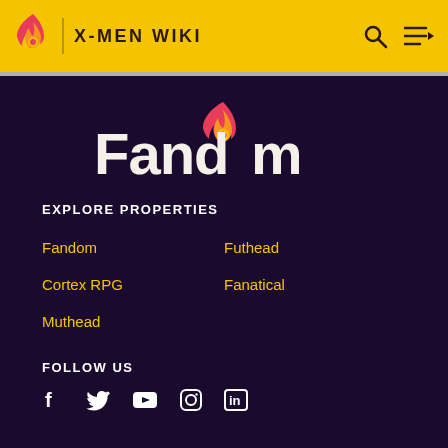X-MEN WIKI
[Figure (logo): Fandom logo with flame icon and heart, white text on dark purple background]
EXPLORE PROPERTIES
Fandom
Futhead
Cortex RPG
Fanatical
Muthead
FOLLOW US
[Figure (infographic): Social media icons: Facebook, Twitter, YouTube, Instagram, LinkedIn]